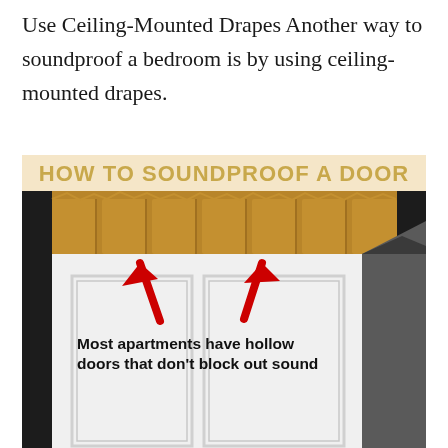Use Ceiling-Mounted Drapes Another way to soundproof a bedroom is by using ceiling-mounted drapes.
[Figure (infographic): Infographic titled 'HOW TO SOUNDPROOF A DOOR' showing a photo of a hollow interior door cross-section (cardboard honeycomb visible at top) with two red arrows pointing upward toward the hollow core, and bold text reading: 'Most apartments have hollow doors that don't block out sound']